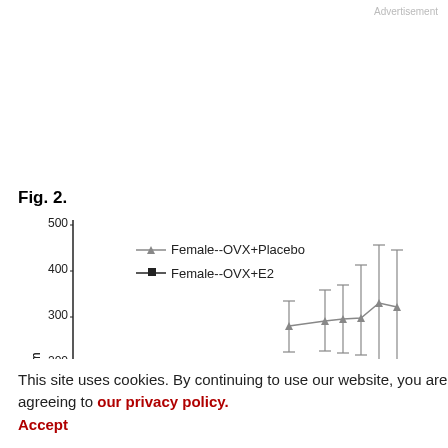Advertisement
Fig. 2.
[Figure (line-chart): ]
This site uses cookies. By continuing to use our website, you are agreeing to our privacy policy.
Accept